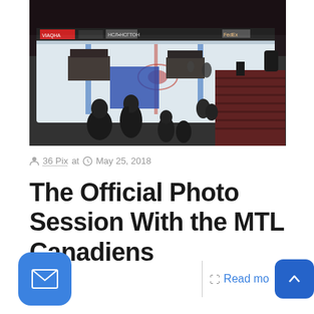[Figure (photo): Hockey arena interior view from stands, showing ice rink with Montreal Canadiens logo, equipment on ice, spectators in foreground silhouettes, and dark red stadium seats on the right side.]
36 Pix at  May 25, 2018
The Official Photo Session With the MTL Canadiens